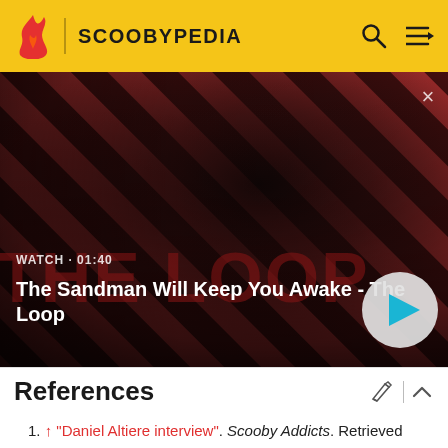SCOOBYPEDIA
[Figure (screenshot): Video thumbnail showing a dark-cloaked figure with a raven on shoulder against a diagonal red and dark stripe background. Title overlay: 'The Sandman Will Keep You Awake - The Loop'. Watch · 01:40. Play button on right.]
References
↑ "Daniel Altiere interview". Scooby Addicts. Retrieved March 28, 2020.